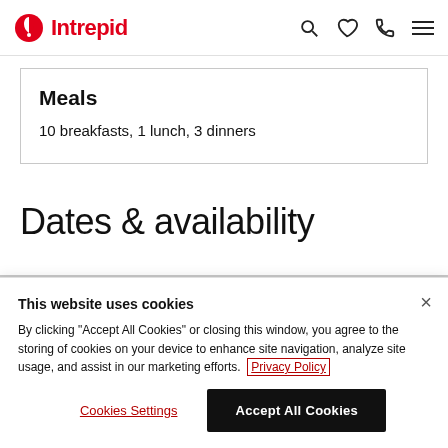Intrepid
Meals
10 breakfasts, 1 lunch, 3 dinners
Dates & availability
This website uses cookies
By clicking "Accept All Cookies" or closing this window, you agree to the storing of cookies on your device to enhance site navigation, analyze site usage, and assist in our marketing efforts. Privacy Policy
Cookies Settings
Accept All Cookies